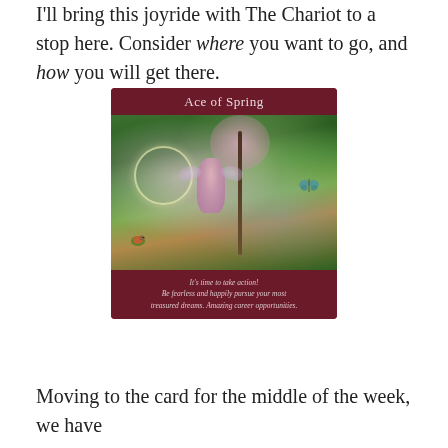I'll bring this joyride with The Chariot to a stop here. Consider where you want to go, and how you will get there.
[Figure (illustration): Tarot card titled 'Ace of Spring' showing a fairy with pink wings standing in an enchanted forest with a cherry blossom tree, glowing circle, butterflies, and woodland creatures. Dark crimson header and footer. Footer text reads: It's time to take action! Be fearless and happily pursue your most treasured dreams. Amazing career opportunities.]
Moving to the card for the middle of the week, we have